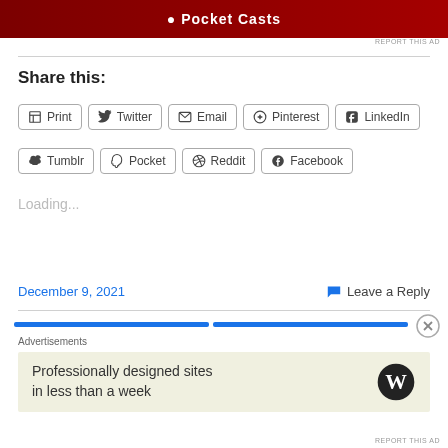[Figure (screenshot): Pocket Casts ad banner at top, partially visible]
REPORT THIS AD
Share this:
Print
Twitter
Email
Pinterest
LinkedIn
Tumblr
Pocket
Reddit
Facebook
Loading...
December 9, 2021
Leave a Reply
Advertisements
Professionally designed sites in less than a week
REPORT THIS AD